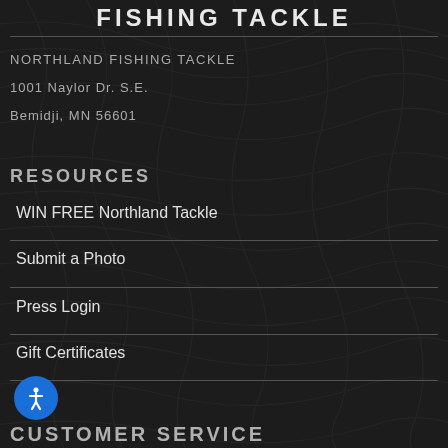FISHING TACKLE
NORTHLAND FISHING TACKLE
1001 Naylor Dr. S.E.
Bemidji, MN 56601
RESOURCES
WIN FREE Northland Tackle
Submit a Photo
Press Login
Gift Certificates
CUSTOMER SERVICE